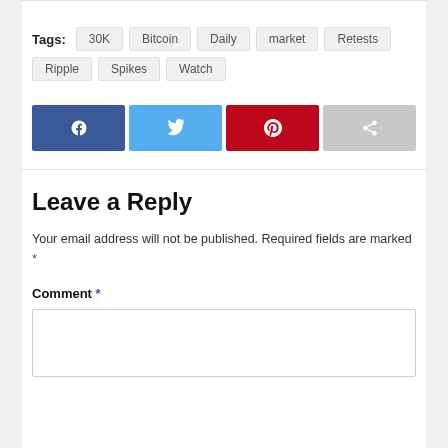Tags: 30K Bitcoin Daily market Retests Ripple Spikes Watch
[Figure (other): Social share buttons: Facebook (blue), Twitter (light blue), Pinterest (red), Share (gray)]
Leave a Reply
Your email address will not be published. Required fields are marked *
Comment *